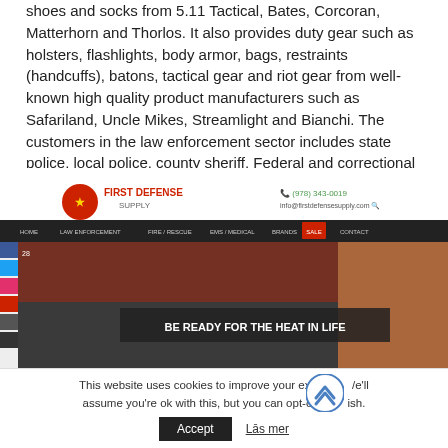shoes and socks from 5.11 Tactical, Bates, Corcoran, Matterhorn and Thorlos. It also provides duty gear such as holsters, flashlights, body armor, bags, restraints (handcuffs), batons, tactical gear and riot gear from well-known high quality product manufacturers such as Safariland, Uncle Mikes, Streamlight and Bianchi. The customers in the law enforcement sector includes state police, local police, county sheriff, Federal and correctional officers.
[Figure (screenshot): Screenshot of First Defense Supply website showing logo, phone number (978) 343-0019, navigation bar with HOME, LAW ENFORCEMENT, FIRE/RESCUE, EMS/MEDICAL, BRANDS, SALE, CONTACT, and a hero image of firefighters/law enforcement personnel with text 'BE READY FOR THE HEAT IN LIFE']
This website uses cookies to improve your exp  /e'll assume you're ok with this, but you can opt-o  ish.